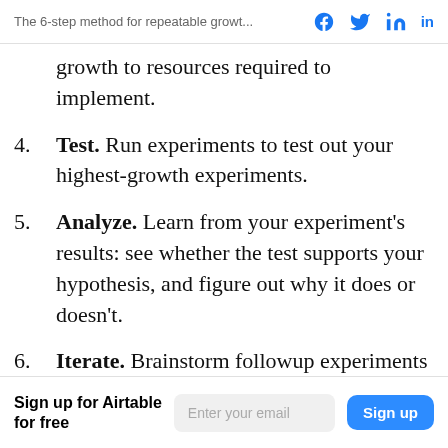The 6-step method for repeatable growt...
growth to resources required to implement.
4. Test. Run experiments to test out your highest-growth experiments.
5. Analyze. Learn from your experiment's results: see whether the test supports your hypothesis, and figure out why it does or doesn't.
6. Iterate. Brainstorm followup experiments that you could run to better understand the results of your last experiments—and feed those
Sign up for Airtable for free